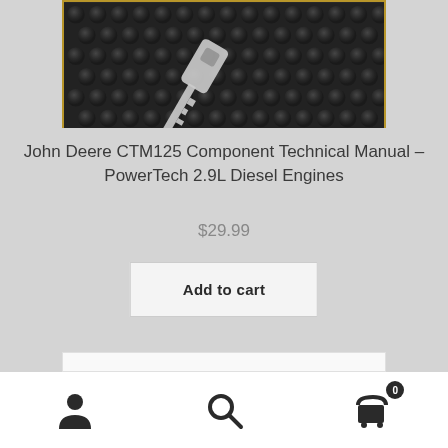[Figure (photo): Product photo showing a key on a dark bubble wrap / dimpled rubber surface background, partially visible at top of page. Dark metallic texture with gold/amber border.]
John Deere CTM125 Component Technical Manual – PowerTech 2.9L Diesel Engines
$29.99
Add to cart
Navigation bar with user account icon, search icon, and shopping cart icon with badge showing 0